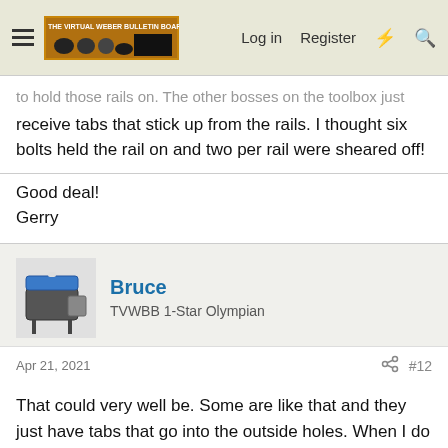Log in  Register
to hold those rails on. The other bosses on the toolbox just receive tabs that stick up from the rails. I thought six bolts held the rail on and two per rail were sheared off!
Good deal!
Gerry
Bruce
TVWBB 1-Star Olympian
Apr 21, 2021  #12
That could very well be. Some are like that and they just have tabs that go into the outside holes. When I do rehabs, I snip the tabs and put screws in the 4 outside holes. Most of the time those rails get bent down in the middle when only a single bolt is used to hold them on. One of those bean counter ideas at Weber to save two screws and 17 cents per grill.